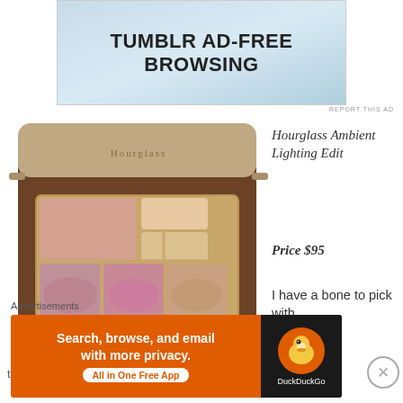[Figure (screenshot): Tumblr ad-free browsing advertisement banner with light blue gradient background]
REPORT THIS AD
[Figure (photo): Hourglass Ambient Lighting Edit makeup palette open showing 6 pans of highlighter and blush in a gold/brown compact]
Hourglass Ambient Lighting Edit
Price $95
I have a bone to pick with
this one. It's BEAUTIFUL, however the price is way off
Advertisements
[Figure (screenshot): DuckDuckGo advertisement: Search, browse, and email with more privacy. All in One Free App.]